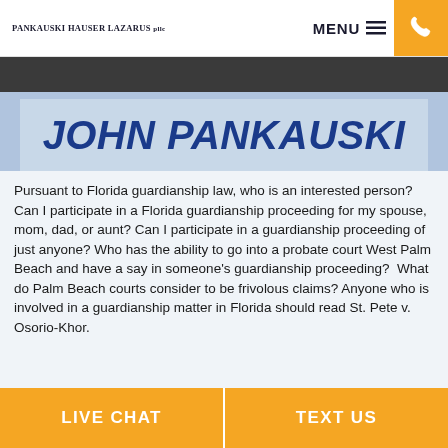Pankauski Hauser Lazarus PLLC | MENU ☰ | [phone icon]
[Figure (photo): Banner image showing 'JOHN PANKAUSKI' in large bold italic blue text on a light blue/grey background, with a dark bar at the top showing a partial person image.]
Pursuant to Florida guardianship law, who is an interested person? Can I participate in a Florida guardianship proceeding for my spouse, mom, dad, or aunt? Can I participate in a guardianship proceeding of just anyone? Who has the ability to go into a probate court West Palm Beach and have a say in someone's guardianship proceeding?  What do Palm Beach courts consider to be frivolous claims? Anyone who is involved in a guardianship matter in Florida should read St. Pete v. Osorio-Khor.
LIVE CHAT | TEXT US